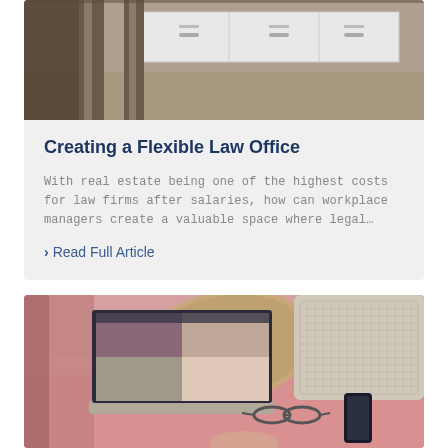[Figure (photo): Interior of a modern law office with white cabinets and wooden pillars]
Creating a Flexible Law Office
With real estate being one of the highest costs for law firms after salaries, how can workplace managers create a valuable space where legal…
> Read Full Article
[Figure (photo): Person working on a laptop on a bed with pink bedding and pillows, with glasses and a phone nearby]